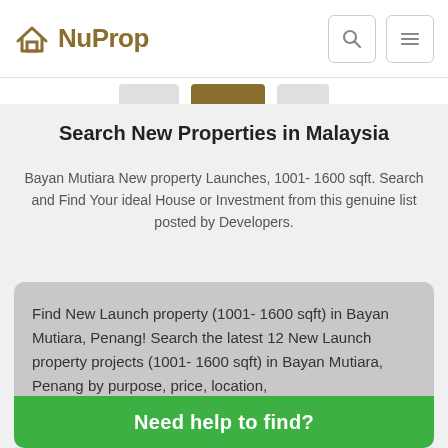NuProp
Search New Properties in Malaysia
Bayan Mutiara New property Launches, 1001- 1600 sqft. Search and Find Your ideal House or Investment from this genuine list posted by Developers.
Find New Launch property (1001- 1600 sqft) in Bayan Mutiara, Penang! Search the latest 12 New Launch property projects (1001- 1600 sqft) in Bayan Mutiara, Penang by purpose, price, location,
Need help to find?
Mutiara, Penang